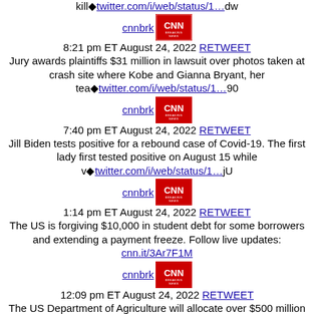kill◆twitter.com/i/web/status/1…dw
cnnbrk 8:21 pm ET August 24, 2022 RETWEET
Jury awards plaintiffs $31 million in lawsuit over photos taken at crash site where Kobe and Gianna Bryant, her tea◆twitter.com/i/web/status/1…90
cnnbrk 7:40 pm ET August 24, 2022 RETWEET
Jill Biden tests positive for a rebound case of Covid-19. The first lady first tested positive on August 15 while v◆twitter.com/i/web/status/1…jU
cnnbrk 1:14 pm ET August 24, 2022 RETWEET
The US is forgiving $10,000 in student debt for some borrowers and extending a payment freeze. Follow live updates: cnn.it/3Ar7F1M
cnnbrk 12:09 pm ET August 24, 2022 RETWEET
The US Department of Agriculture will allocate over $500 million toward initiatives to help poor farmers and